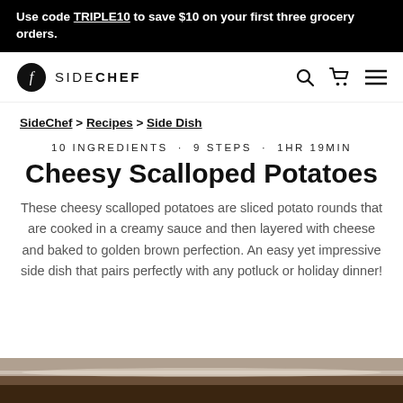Use code TRIPLE10 to save $10 on your first three grocery orders.
[Figure (logo): SideChef logo with circular icon and text SIDECHEF, plus search, cart, and menu icons]
SideChef > Recipes > Side Dish
10 INGREDIENTS · 9 STEPS · 1HR 19MIN
Cheesy Scalloped Potatoes
These cheesy scalloped potatoes are sliced potato rounds that are cooked in a creamy sauce and then layered with cheese and baked to golden brown perfection. An easy yet impressive side dish that pairs perfectly with any potluck or holiday dinner!
[Figure (photo): Partial photo of cheesy scalloped potatoes dish at bottom of page]